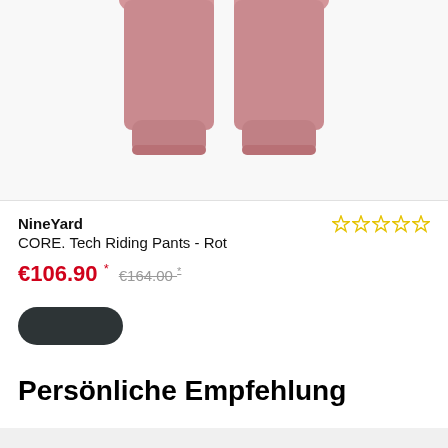[Figure (photo): Product photo showing lower half of pink/rose-colored riding pants on a model, cropped at thigh level, white background]
NineYard
CORE. Tech Riding Pants - Rot
€106.90 * €164.00 *
[Figure (other): Dark rounded pill-shaped Add to Cart button]
Persönliche Empfehlung